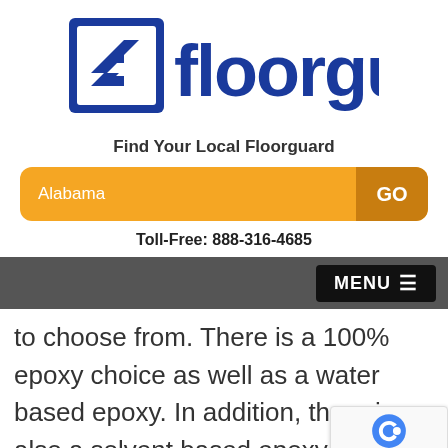[Figure (logo): Floorguard logo with blue double-arrow icon in a square and blue bold text 'floorguard']
Find Your Local Floorguard
Alabama  GO
Toll-Free: 888-316-4685
MENU ≡
to choose from. There is a 100% epoxy choice as well as a water based epoxy. In addition, there is also a solvent based epoxy. Each one of these options offe